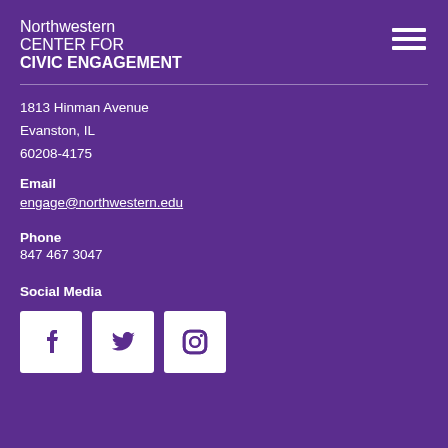Northwestern CENTER FOR CIVIC ENGAGEMENT
1813 Hinman Avenue
Evanston, IL
60208-4175
Email
engage@northwestern.edu
Phone
847 467 3047
Social Media
[Figure (logo): Facebook, Twitter, and Instagram social media icons in white on purple background]